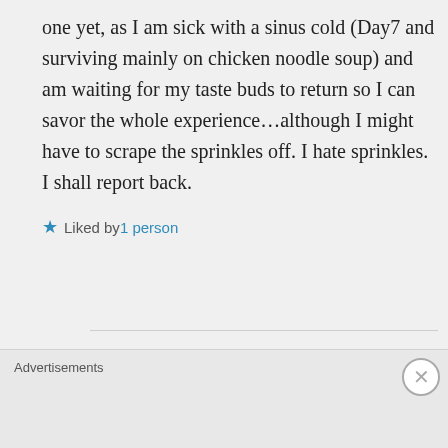one yet, as I am sick with a sinus cold (Day7 and surviving mainly on chicken noodle soup) and am waiting for my taste buds to return so I can savor the whole experience…although I might have to scrape the sprinkles off. I hate sprinkles. I shall report back.
Liked by 1 person
J P on October 4, 2019 at 3:07 pm
Advertisements